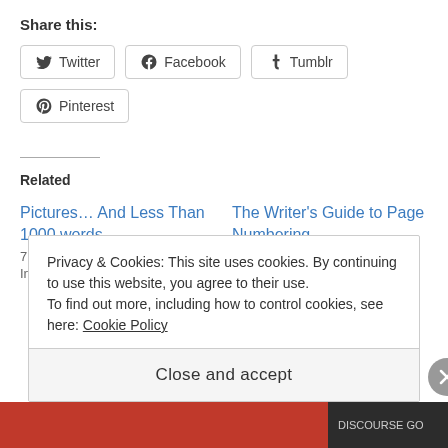Share this:
Twitter  Facebook  Tumblr  Pinterest
Related
Pictures… And Less Than 1000 words
7 January 2016
In "Writing"
The Writer's Guide to Page Numbering
5 May 2014
In "Writing"
Privacy & Cookies: This site uses cookies. By continuing to use this website, you agree to their use.
To find out more, including how to control cookies, see here: Cookie Policy
Close and accept